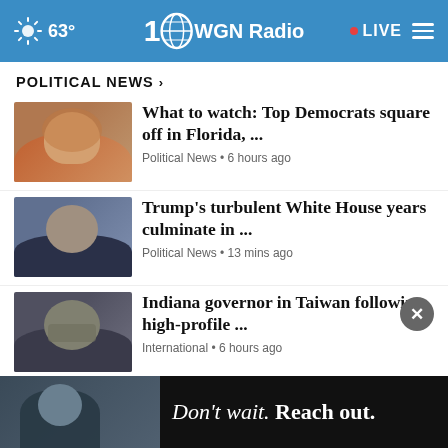63° WGN Radio • LIVE
POLITICAL NEWS ›
[Figure (photo): Thumbnail photo of a woman speaking]
What to watch: Top Democrats square off in Florida, ...
Political News • 6 hours ago
[Figure (photo): Thumbnail photo of a man at a desk]
Trump's turbulent White House years culminate in ...
Political News • 13 mins ago
[Figure (photo): Thumbnail photo of a man with beard and glasses]
Indiana governor in Taiwan following high-profile ...
International • 6 hours ago
[Figure (photo): Thumbnail video still of a man]
Most voters in new poll say investigations into Trump ...
News • 11 hours ago
[Figure (photo): Thumbnail video still]
[Figure (photo): Advertisement banner: Don't wait. Reach out. with background image of person]